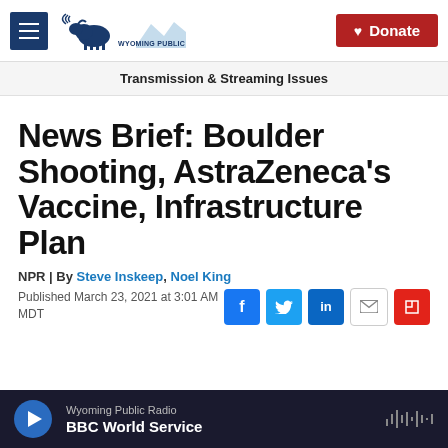Wyoming Public Media | Donate
Transmission & Streaming Issues
News Brief: Boulder Shooting, AstraZeneca's Vaccine, Infrastructure Plan
NPR | By Steve Inskeep, Noel King
Published March 23, 2021 at 3:01 AM MDT
Wyoming Public Radio BBC World Service